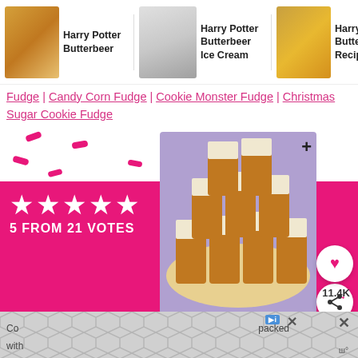[Figure (screenshot): Navigation bar with three Harry Potter Butterbeer recipe links with food photos: Harry Potter Butterbeer, Harry Potter Butterbeer Ice Cream, Harry Potter Butterbeer Recipe]
Fudge | Candy Corn Fudge | Cookie Monster Fudge | Christmas Sugar Cookie Fudge
[Figure (photo): Stacked two-tone caramel and cream fudge pieces on a plate with pink background, stars rating and votes overlay]
HARRY POTTER BUTTERBEER FUDGE
AUTHOR — Jennifer Fishkind
SERVES — 49
[Figure (screenshot): Advertisement banner with geometric hexagon pattern at bottom of page]